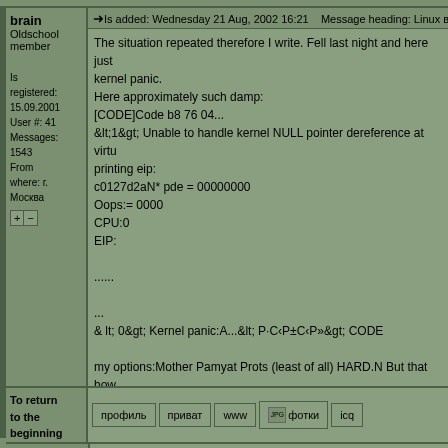brain
Oldschool member
Is registered: 15.09.2001
User #: 41
Messages: 1543
From where: г. Москва
➜Is added: Wednesday 21 Aug, 2002 16:21   Message heading: Linux вишет
The situation repeated therefore I write. Fell last night and here just kernel panic.
Here approximately such damp:
[CODE]Code b8 76 04...
&lt;1&gt; Unable to handle kernel NULL pointer dereference at virt printing eip:
c0127d2aN* pde = 00000000
Oops:= 0000
CPU:0
EIP:
......
...
& lt; 0&gt; Kernel panic:A...&lt; P·C‹P±C‹P»&gt; CODE

my options:Mother Pamyat Prots (least of all) HARD.N But that how
To return to the beginning
профиль   приват   www   фотки   icq